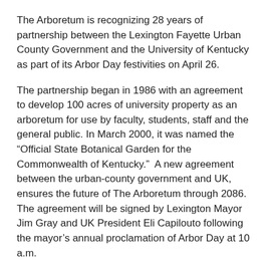The Arboretum is recognizing 28 years of partnership between the Lexington Fayette Urban County Government and the University of Kentucky  as part of its Arbor Day festivities on April 26.
The partnership began in 1986 with an agreement to develop 100 acres of university property as an arboretum for use by faculty, students, staff and the general public. In March 2000, it was named the “Official State Botanical Garden for the Commonwealth of Kentucky.”  A new agreement between the urban-county government and UK, ensures the future of The Arboretum through 2086. The agreement will be signed by Lexington Mayor Jim Gray and UK President Eli Capilouto following the mayor’s annual proclamation of Arbor Day at 10 a.m.
The Arbor Day festivities conclude this year’s ‘Party for the Planet’, a month-long series of events made possible by Kentucky Utilities Company. This year’s theme is “Leave a Legacy,”